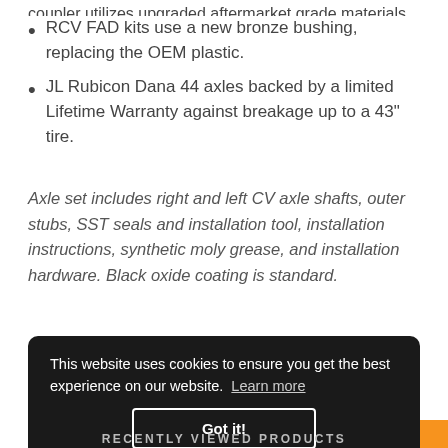RCV FAD kits use a new bronze bushing, replacing the OEM plastic.
JL Rubicon Dana 44 axles backed by a limited Lifetime Warranty against breakage up to a 43" tire.
Axle set includes right and left CV axle shafts, outer stubs, SST seals and installation tool, installation instructions, synthetic moly grease, and installation hardware. Black oxide coating is standard.
This website uses cookies to ensure you get the best experience on our website. Learn more
Got it!
RECENTLY VIEWED PRODUCTS